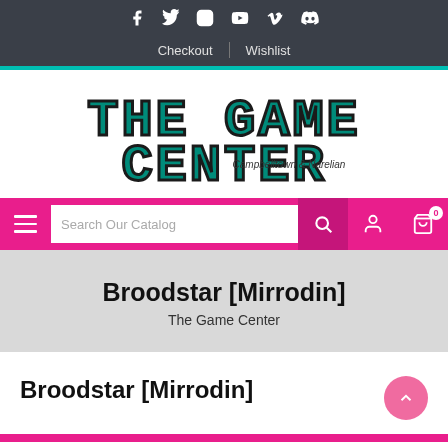Social icons: Facebook, Twitter, Instagram, YouTube, Vimeo, Discord | Checkout | Wishlist
[Figure (logo): The Game Center logo with pixel/retro font in teal/green. Subtitle: Campbelltown & Narelian]
[Figure (screenshot): Pink navigation bar with hamburger menu, Search Our Catalog search box, search icon, account icon, and cart icon with badge 0]
Broodstar [Mirrodin]
The Game Center
Broodstar [Mirrodin]